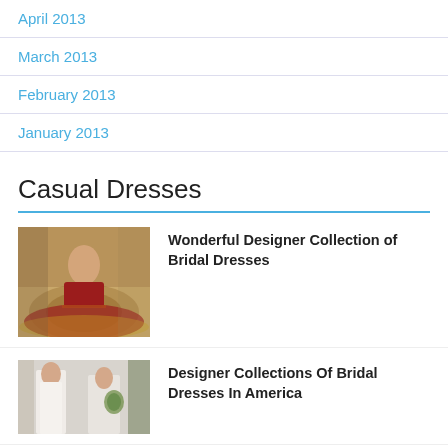April 2013
March 2013
February 2013
January 2013
Casual Dresses
[Figure (photo): Woman in ornate red and gold bridal dress in an elegant interior setting]
Wonderful Designer Collection of Bridal Dresses
[Figure (photo): Two women in white bridal dresses, one in V-neck gown, one with floral arrangement]
Designer Collections Of Bridal Dresses In America